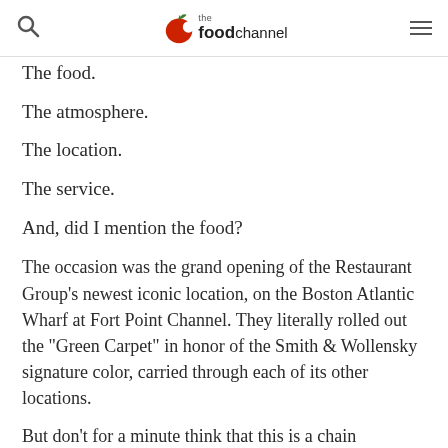the food channel
The food.
The atmosphere.
The location.
The service.
And, did I mention the food?
The occasion was the grand opening of the Restaurant Group's newest iconic location, on the Boston Atlantic Wharf at Fort Point Channel. They literally rolled out the "Green Carpet" in honor of the Smith & Wollensky signature color, carried through each of its other locations.
But don't for a minute think that this is a chain restaurant. Each of the now-nine locations has a